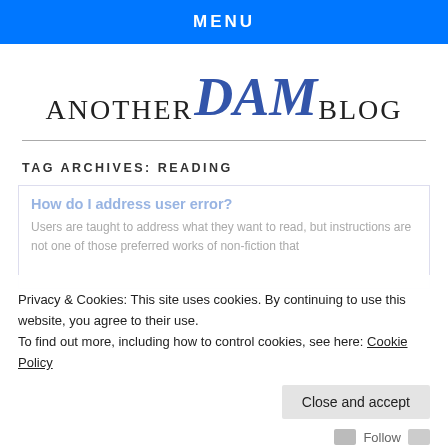MENU
[Figure (logo): ANOTHER DAM BLOG logo with 'DAM' in large blue italic serif and 'ANOTHER' and 'BLOG' in smaller dark small-caps serif]
TAG ARCHIVES: READING
How do I address user error?
Users are taught to address what they want to read, but instructions are not one of those preferred works of non-fiction that
Privacy & Cookies: This site uses cookies. By continuing to use this website, you agree to their use. To find out more, including how to control cookies, see here: Cookie Policy
Close and accept